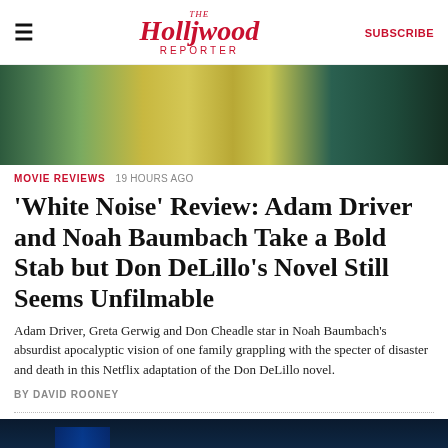The Hollywood Reporter | SUBSCRIBE
[Figure (photo): Top cropped photo showing characters in patterned and colorful clothing]
MOVIE REVIEWS  19 HOURS AGO
'White Noise' Review: Adam Driver and Noah Baumbach Take a Bold Stab but Don DeLillo's Novel Still Seems Unfilmable
Adam Driver, Greta Gerwig and Don Cheadle star in Noah Baumbach's absurdist apocalyptic vision of one family grappling with the specter of disaster and death in this Netflix adaptation of the Don DeLillo novel.
BY DAVID ROONEY
[Figure (photo): Bottom dark-toned film still from White Noise movie]